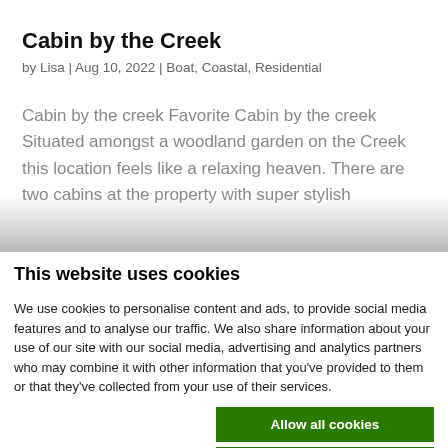Cabin by the Creek
by Lisa | Aug 10, 2022 | Boat, Coastal, Residential
Cabin by the creek Favorite Cabin by the creek Situated amongst a woodland garden on the Creek this location feels like a relaxing heaven. There are two cabins at the property with super stylish
This website uses cookies
We use cookies to personalise content and ads, to provide social media features and to analyse our traffic. We also share information about your use of our site with our social media, advertising and analytics partners who may combine it with other information that you've provided to them or that they've collected from your use of their services.
Allow all cookies
Allow selection
Use necessary cookies only
Necessary | Preferences | Statistics | Marketing | Show details